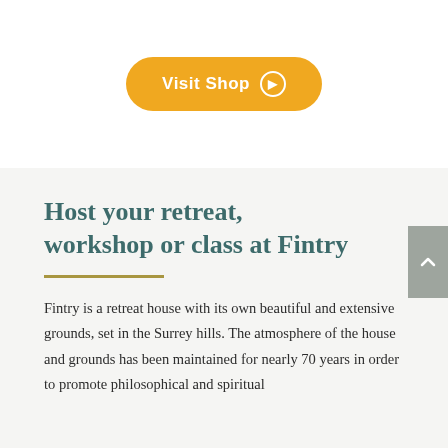[Figure (other): Yellow/orange rounded button labeled 'Visit Shop' with a right-arrow circle icon]
Host your retreat, workshop or class at Fintry
Fintry is a retreat house with its own beautiful and extensive grounds, set in the Surrey hills. The atmosphere of the house and grounds has been maintained for nearly 70 years in order to promote philosophical and spiritual